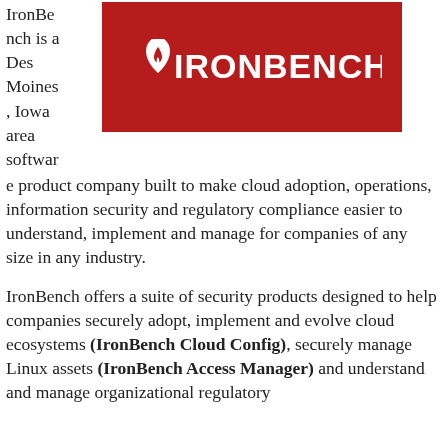[Figure (logo): IronBench logo: white text IRONBENCH with a shield/flame icon, on a dark red background]
IronBench is a Des Moines, Iowa area software product company built to make cloud adoption, operations, information security and regulatory compliance easier to understand, implement and manage for companies of any size in any industry.
IronBench offers a suite of security products designed to help companies securely adopt, implement and evolve cloud ecosystems (IronBench Cloud Config), securely manage Linux assets (IronBench Access Manager) and understand and manage organizational regulatory